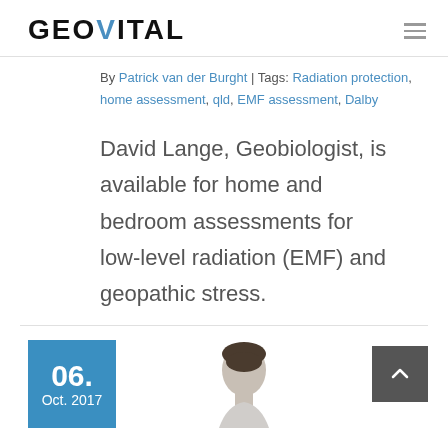GEOVITAL
By Patrick van der Burght | Tags: Radiation protection, home assessment, qld, EMF assessment, Dalby
David Lange, Geobiologist, is available for home and bedroom assessments for low-level radiation (EMF) and geopathic stress.
06. Oct. 2017
[Figure (photo): Partial photo of a person's face/head at the bottom of the page]